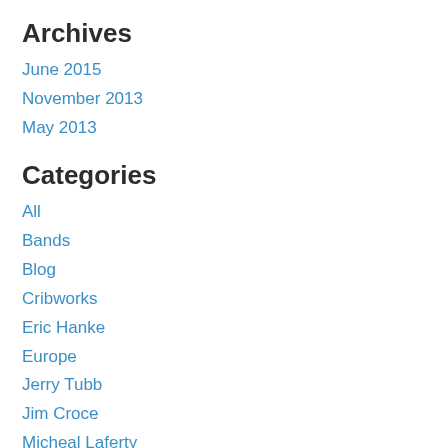Archives
June 2015
November 2013
May 2013
Categories
All
Bands
Blog
Cribworks
Eric Hanke
Europe
Jerry Tubb
Jim Croce
Micheal Laferty
Mixes
Music
Musicians
Paul Keinarth
Randy Palmer